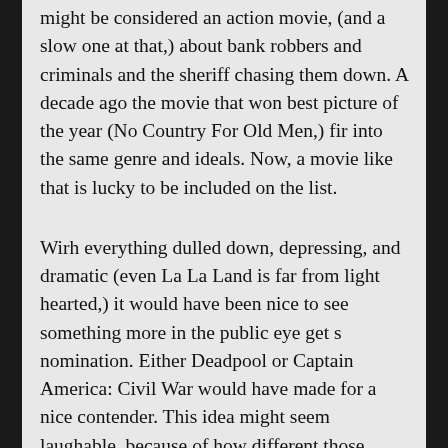might be considered an action movie, (and a slow one at that,) about bank robbers and criminals and the sheriff chasing them down. A decade ago the movie that won best picture of the year (No Country For Old Men,) fir into the same genre and ideals. Now, a movie like that is lucky to be included on the list.
Wirh everything dulled down, depressing, and dramatic (even La La Land is far from light hearted,) it would have been nice to see something more in the public eye get s nomination. Either Deadpool or Captain America: Civil War would have made for a nice contender. This idea might seem laughable, because of how different those movies are than the dramatic and upsetting films that were nominated. But what most people don't know is that Deadpool really was nominated for best picture at some of the other prestigious award shows (like the Producers Guild of America.) And Captain America Civil War found the